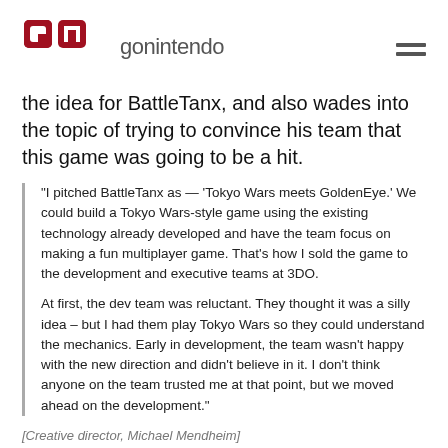gonintendo
the idea for BattleTanx, and also wades into the topic of trying to convince his team that this game was going to be a hit.
“I pitched BattleTanx as — ‘Tokyo Wars meets GoldenEye.’ We could build a Tokyo Wars-style game using the existing technology already developed and have the team focus on making a fun multiplayer game. That’s how I sold the game to the development and executive teams at 3DO.

At first, the dev team was reluctant. They thought it was a silly idea – but I had them play Tokyo Wars so they could understand the mechanics. Early in development, the team wasn’t happy with the new direction and didn’t believe in it. I don’t think anyone on the team trusted me at that point, but we moved ahead on the development.”
[Creative director, Michael Mendheim]